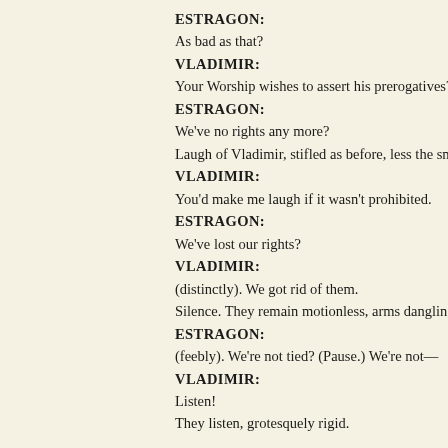ESTRAGON:
As bad as that?
VLADIMIR:
Your Worship wishes to assert his prerogatives?
ESTRAGON:
We've no rights any more?
Laugh of Vladimir, stifled as before, less the smile.
VLADIMIR:
You'd make me laugh if it wasn't prohibited.
ESTRAGON:
We've lost our rights?
VLADIMIR:
(distinctly). We got rid of them.
Silence. They remain motionless, arms dangling, hea
ESTRAGON:
(feebly). We're not tied? (Pause.) We're not—
VLADIMIR:
Listen!
They listen, grotesquely rigid.
ESTRAGON:
I hear nothing.
VLADIMIR:
Hsst! (They listen. Estragon loses his balance, almos